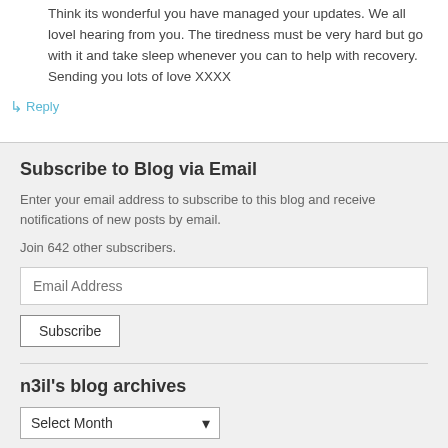Think its wonderful you have managed your updates. We all lovel hearing from you. The tiredness must be very hard but go with it and take sleep whenever you can to help with recovery. Sending you lots of love XXXX
↳ Reply
Subscribe to Blog via Email
Enter your email address to subscribe to this blog and receive notifications of new posts by email.
Join 642 other subscribers.
Email Address
Subscribe
n3il's blog archives
Select Month